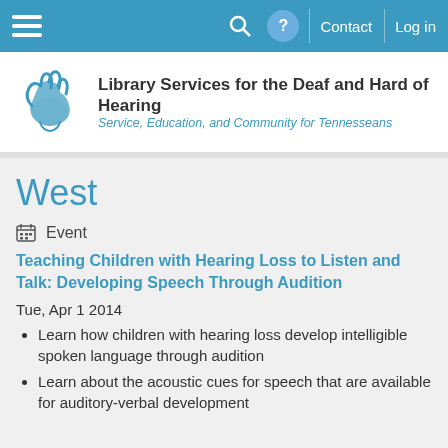Navigation bar with hamburger menu, search, help, Contact, Log in
[Figure (logo): Hand sign language logo for Library Services for the Deaf and Hard of Hearing]
Library Services for the Deaf and Hard of Hearing
Service, Education, and Community for Tennesseans
West
Event
Teaching Children with Hearing Loss to Listen and Talk: Developing Speech Through Audition
Tue, Apr 1 2014
Learn how children with hearing loss develop intelligible spoken language through audition
Learn about the acoustic cues for speech that are available for auditory-verbal development